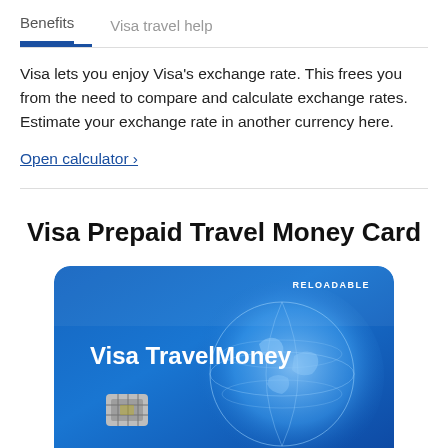Benefits   Visa travel help
Visa lets you enjoy Visa's exchange rate. This frees you from the need to compare and calculate exchange rates. Estimate your exchange rate in another currency here.
Open calculator ›
Visa Prepaid Travel Money Card
[Figure (photo): Visa TravelMoney prepaid card with blue gradient background, globe graphic, chip, and RELOADABLE label in upper right corner]